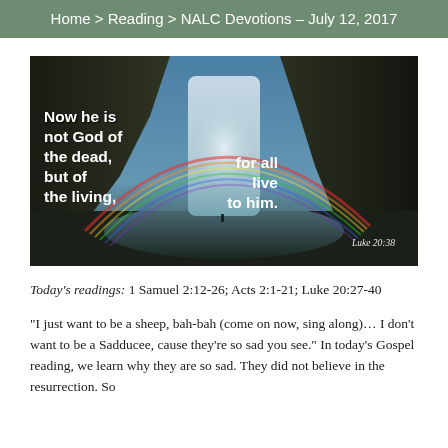Home > Reading > NALC Devotions – July 12, 2017
[Figure (photo): A scenic waterfall with a rainbow, dark rocky cliffs on either side, with overlaid white text reading 'Now he is not God of the dead, but of the living, for all live to him.' and 'Luke 20:38' in the bottom right.]
Today's readings: 1 Samuel 2:12-26; Acts 2:1-21; Luke 20:27-40
“I just want to be a sheep, bah-bah (come on now, sing along)… I don’t want to be a Sadducee, cause they’re so sad you see.” In today’s Gospel reading, we learn why they are so sad. They did not believe in the resurrection. So